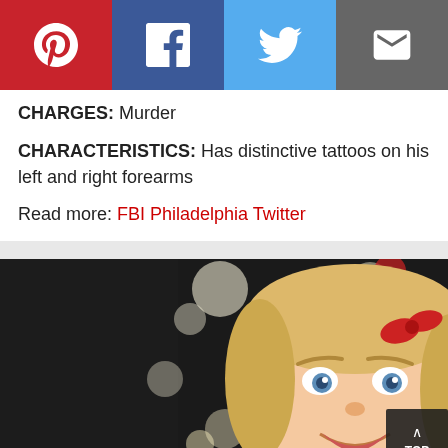[Figure (infographic): Social media sharing bar with Pinterest (red), Facebook (dark blue), Twitter (light blue), and Email (gray) buttons]
CHARGES: Murder
CHARACTERISTICS: Has distinctive tattoos on his left and right forearms
Read more: FBI Philadelphia Twitter
[Figure (photo): Photo of a young blonde girl wearing a red bow in her hair and a red top, smiling, with bokeh Christmas lights in the background]